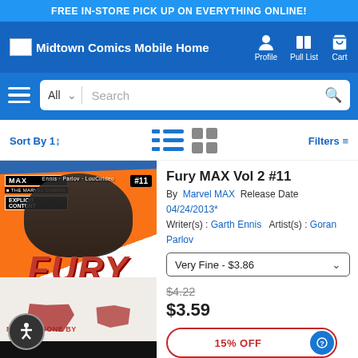FREE IN-STORE PICK UP ON EVERYTHING ONLINE!
[Figure (screenshot): Midtown Comics mobile website navigation bar with logo, Profile, Pull List, and Cart icons]
[Figure (screenshot): Search bar with All category dropdown and search field]
Sort By | Filters
[Figure (photo): Comic book cover: Fury MAX Vol 2 #11, My War Gone By, showing a dark-skinned man in white tank top covered in bloody handprints, with MAX and Explicit Content labels. By Ennis, Parlov, LouCirideo, #11.]
Fury MAX Vol 2 #11
By Marvel MAX Release Date 04/24/2013*
Writer(s) : Garth Ennis Artist(s) : Goran Parlov
Very Fine - $3.86
$4.22
$3.59
15% OFF